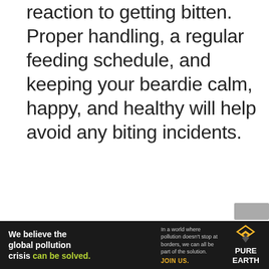reaction to getting bitten. Proper handling, a regular feeding schedule, and keeping your beardie calm, happy, and healthy will help avoid any biting incidents.
[Figure (other): Advertisement banner for Pure Earth organization. Black background with text 'We believe the global pollution crisis can be solved.' on the left, tagline 'In a world where pollution doesn't stop at borders, we can all be part of the solution. JOIN US.' in the middle, and the Pure Earth logo (diamond shape with arrow) and 'PURE EARTH' text on the right.]